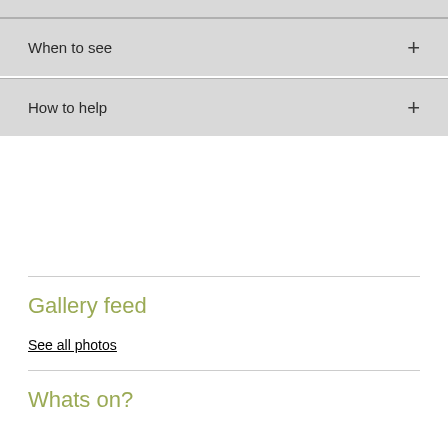When to see
How to help
Gallery feed
See all photos
Whats on?